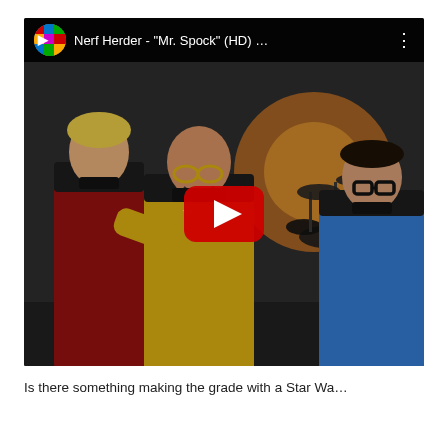[Figure (screenshot): YouTube video thumbnail showing Nerf Herder - 'Mr. Spock' (HD) music video. Band members dressed in Star Trek uniforms (yellow, red, blue) in a studio setting with drum kit. A large red YouTube play button is overlaid in the center. The video title bar at top reads 'Nerf Herder - "Mr. Spock" (HD) ...' with a channel thumbnail on the left and a vertical three-dot menu icon on the right.]
Is there something making the grade with a Star Wa...